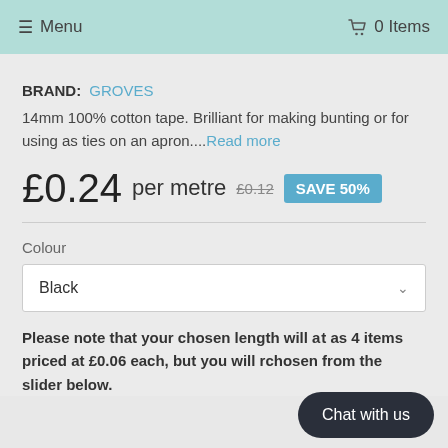≡ Menu   🛒 0 Items
BRAND: GROVES
14mm 100% cotton tape. Brilliant for making bunting or for using as ties on an apron....Read more
£0.24 per metre £0.12 SAVE 50%
Colour
Black
Please note that your chosen length will a... as 4 items priced at £0.06 each, but you will r... chosen from the slider below.
Chat with us